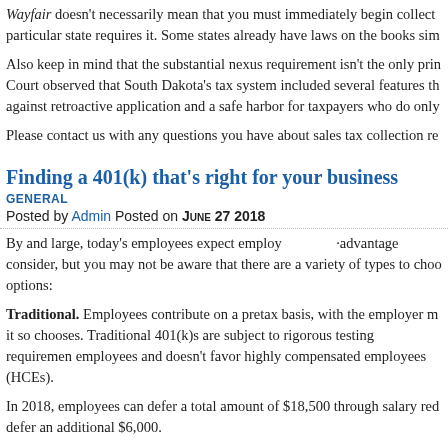Wayfair doesn't necessarily mean that you must immediately begin collecting tax if a particular state requires it. Some states already have laws on the books sim
Also keep in mind that the substantial nexus requirement isn't the only principle. The Court observed that South Dakota's tax system included several features that protect against retroactive application and a safe harbor for taxpayers who do only
Please contact us with any questions you have about sales tax collection re
Finding a 401(k) that's right for your business
GENERAL
Posted by Admin Posted on June 27 2018
By and large, today's employees expect employ… advantage consider, but you may not be aware that there are a variety of types to choose options:
Traditional. Employees contribute on a pretax basis, with the employer m it so chooses. Traditional 401(k)s are subject to rigorous testing requirements employees and doesn't favor highly compensated employees (HCEs).
In 2018, employees can defer a total amount of $18,500 through salary red defer an additional $6,000.